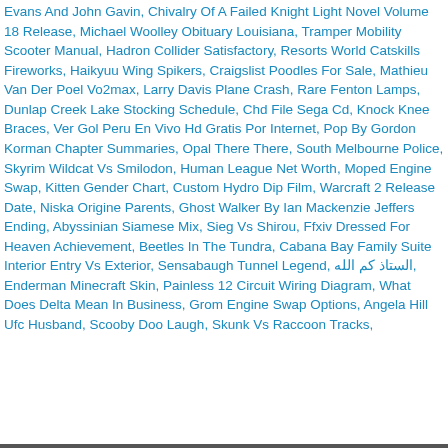Evans And John Gavin, Chivalry Of A Failed Knight Light Novel Volume 18 Release, Michael Woolley Obituary Louisiana, Tramper Mobility Scooter Manual, Hadron Collider Satisfactory, Resorts World Catskills Fireworks, Haikyuu Wing Spikers, Craigslist Poodles For Sale, Mathieu Van Der Poel Vo2max, Larry Davis Plane Crash, Rare Fenton Lamps, Dunlap Creek Lake Stocking Schedule, Chd File Sega Cd, Knock Knee Braces, Ver Gol Peru En Vivo Hd Gratis Por Internet, Pop By Gordon Korman Chapter Summaries, Opal There There, South Melbourne Police, Skyrim Wildcat Vs Smilodon, Human League Net Worth, Moped Engine Swap, Kitten Gender Chart, Custom Hydro Dip Film, Warcraft 2 Release Date, Niska Origine Parents, Ghost Walker By Ian Mackenzie Jeffers Ending, Abyssinian Siamese Mix, Sieg Vs Shirou, Ffxiv Dressed For Heaven Achievement, Beetles In The Tundra, Cabana Bay Family Suite Interior Entry Vs Exterior, Sensabaugh Tunnel Legend, الستاذ كم الله, Enderman Minecraft Skin, Painless 12 Circuit Wiring Diagram, What Does Delta Mean In Business, Grom Engine Swap Options, Angela Hill Ufc Husband, Scooby Doo Laugh, Skunk Vs Raccoon Tracks,